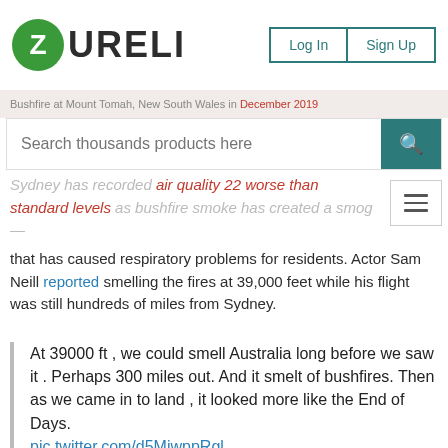ZURELI — Log In  Sign Up
Bushfire at Mount Tomah, New South Wales in December 2019
Search thousands products here
Sydney has recorded air quality 22 worse than standard levels as bushfire smoke has created a smog that has caused respiratory problems for residents. Actor Sam Neill reported smelling the fires at 39,000 feet while his flight was still hundreds of miles from Sydney.
At 39000 ft , we could smell Australia long before we saw it . Perhaps 300 miles out. And it smelt of bushfires. Then as we came in to land , it looked more like the End of Days.
pic.twitter.com/d5MiwppRgl